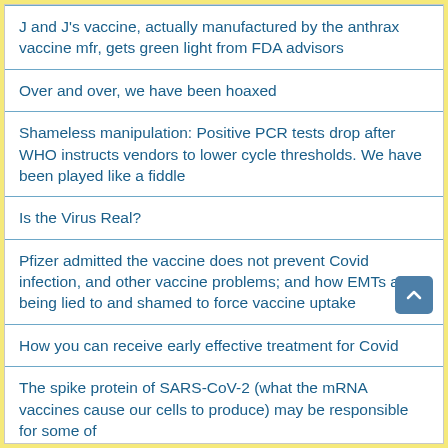J and J's vaccine, actually manufactured by the anthrax vaccine mfr, gets green light from FDA advisors
Over and over, we have been hoaxed
Shameless manipulation: Positive PCR tests drop after WHO instructs vendors to lower cycle thresholds. We have been played like a fiddle
Is the Virus Real?
Pfizer admitted the vaccine does not prevent Covid infection, and other vaccine problems; and how EMTs are being lied to and shamed to force vaccine uptake
How you can receive early effective treatment for Covid
The spike protein of SARS-CoV-2 (what the mRNA vaccines cause our cells to produce) may be responsible for some of